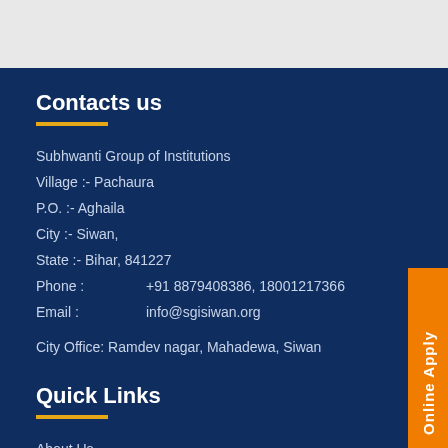Contacts us
Subhwanti Group of Institutions
Village :- Pachaura
P.O. :- Aghaila
City :- Siwan,
State :- Bihar, 841227
Phone : +91 8879408386, 18001217366
Email : info@sgisiwan.org
City Office: Ramdev nagar, Mahadewa, Siwan
Quick Links
About Us